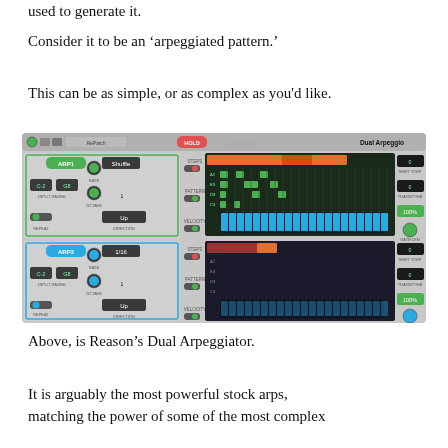used to generate it.
Consider it to be an ‘arpeggiated pattern.’
This can be as simple, or as complex as you’d like.
[Figure (screenshot): Reason's Dual Arpeggiator plugin interface showing two arpeggiator sections (ARP1 and ARP2) with step sequencer grids, controls for rate, shuffle, octave, direction, repeat, steps, pattern, and velocity. ARP1 has green step patterns visible on the grid. Both sections show orange bars at the top of their respective grids.]
Above, is Reason’s Dual Arpeggiator.
It is arguably the most powerful stock arps, matching the power of some of the most complex